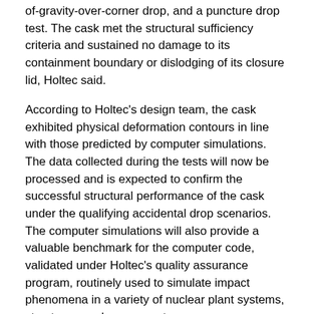of-gravity-over-corner drop, and a puncture drop test. The cask met the structural sufficiency criteria and sustained no damage to its containment boundary or dislodging of its closure lid, Holtec said.
According to Holtec's design team, the cask exhibited physical deformation contours in line with those predicted by computer simulations. The data collected during the tests will now be processed and is expected to confirm the successful structural performance of the cask under the qualifying accidental drop scenarios. The computer simulations will also provide a valuable benchmark for the computer code, validated under Holtec's quality assurance program, routinely used to simulate impact phenomena in a variety of nuclear plant systems, structures, and components.
While fuel-bearing transport casks are cylindrical, the ATB-1T cask has a large rectangular footprint (about 12 feet by 5.9 feet, or 3.7 metres by 1.8 metres) with several corners, facets and edges that render it vulnerable to a crushing impact loading. The ATB-1T cask, which with its payload weighs over 120 tonnes, has no impact limiter to cushion its impact upon its collision with the target, unlike cylindrical casks which are fitted with impact limiters. Avoiding the need for impact limiters